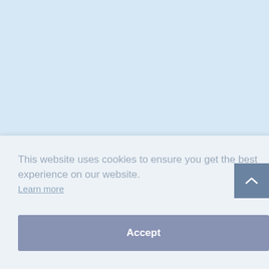[Figure (screenshot): Cookie consent banner overlay on a light blue webpage background. The banner has a light gray background and contains cookie notice text, a 'Learn more' link, and an 'Accept' button. A dark blue scroll-to-top button with a chevron up icon is visible on the right side.]
This website uses cookies to ensure you get the best experience on our website.
Learn more
Accept